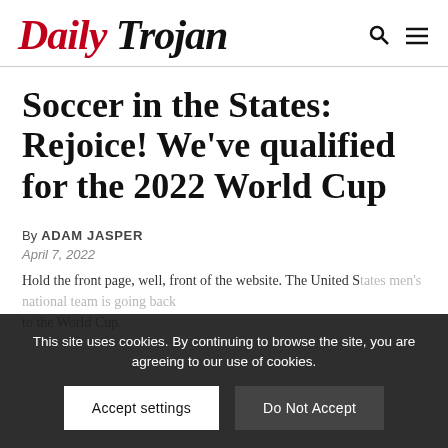DAILY TROJAN
Soccer in the States: Rejoice! We've qualified for the 2022 World Cup
By ADAM JASPER
April 7, 2022
Hold the front page, well, front of the website. The United States men's national team is going back to the World Cup.
This site uses cookies. By continuing to browse the site, you are agreeing to our use of cookies.